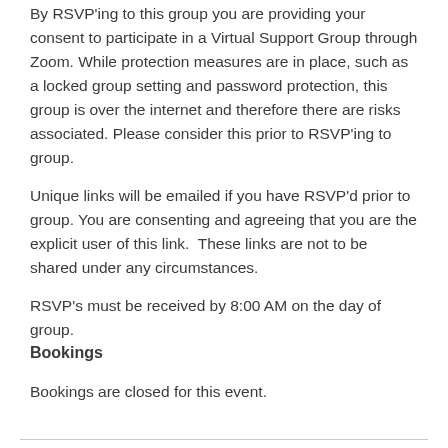By RSVP'ing to this group you are providing your consent to participate in a Virtual Support Group through Zoom. While protection measures are in place, such as a locked group setting and password protection, this group is over the internet and therefore there are risks associated. Please consider this prior to RSVP'ing to group.
Unique links will be emailed if you have RSVP'd prior to group. You are consenting and agreeing that you are the explicit user of this link.  These links are not to be shared under any circumstances.
RSVP's must be received by 8:00 AM on the day of group.
Bookings
Bookings are closed for this event.